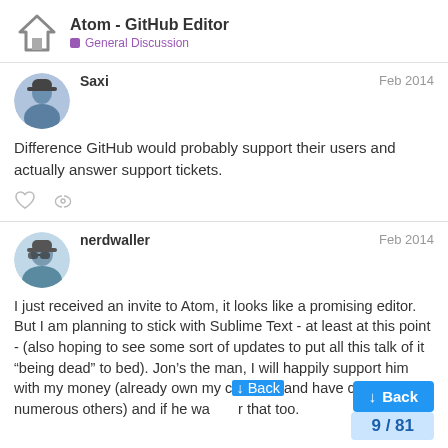Atom - GitHub Editor
General Discussion
Saxi
Feb 2014
Difference GitHub would probably support their users and actually answer support tickets.
nerdwaller
Feb 2014
I just received an invite to Atom, it looks like a promising editor. But I am planning to stick with Sublime Text - at least at this point - (also hoping to see some sort of updates to put all this talk of it “being dead” to bed). Jon’s the man, I will happily support him with my money (already own my c and have converted numerous others) and if he wa r that too.